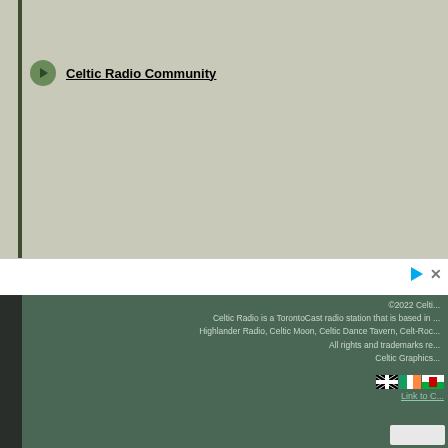Celtic Radio Community
[Figure (other): Advertisement banner with play and close icons, and a pink/magenta rectangular button element]
©2022 Celti... Celtic Radio is a TorontoCast radio station that is based in ... Highlander Radio, Celtic Moon, Celtic Dance Tavern, Celt-Roc... All rights and trademarks re... Celtic Graphics...
[Figure (other): Small flag icons (Cornwall, Ireland, Wales) and a Link to C... text link below them]